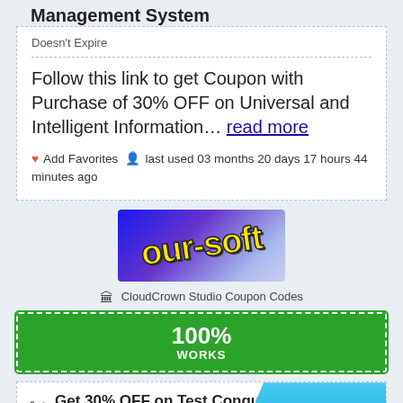Management System
Doesn't Expire
Follow this link to get Coupon with Purchase of 30% OFF on Universal and Intelligent Information… read more
♥ Add Favorites  last used 03 months 20 days 17 hours 44 minutes ago
[Figure (logo): our-soft logo: yellow italic text on blue/purple gradient background]
🏛 CloudCrown Studio Coupon Codes
100% WORKS
✂ Get 30% OFF on Test Conqueror Series OEM
Get Coupon